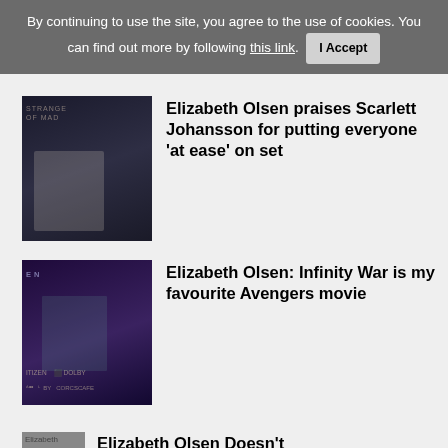By continuing to use the site, you agree to the use of cookies. You can find out more by following this link. I Accept
Elizabeth Olsen praises Scarlett Johansson for putting everyone 'at ease' on set
Elizabeth Olsen: Infinity War is my favourite Avengers movie
Elizabeth Olsen Doesn't